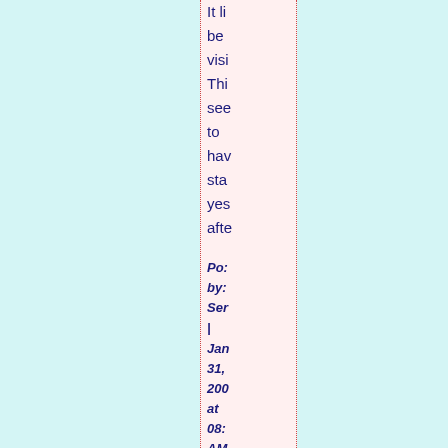It li be visi Thi see to hav sta yes afte
Posted by: Sen | Jan 31, 200 at 08: AM
Sen I see bot my